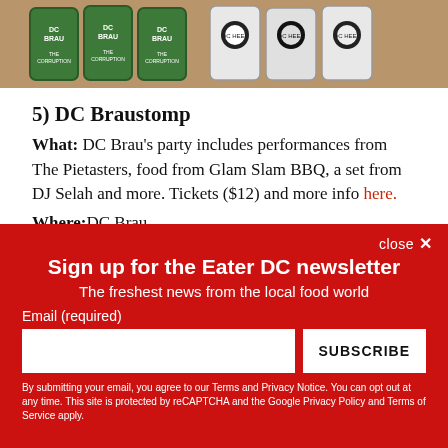[Figure (photo): Photo of DC Brau beer cans with green labels reading 'DC Brau' and 'The Corruption', alongside black and white illustrated cans, lined up on a surface.]
5) DC Braustomp
What: DC Brau's party includes performances from The Pietasters, food from Glam Slam BBQ, a set from DJ Selah and more. Tickets ($12) and more info here.
Where:DC Brau
3178 Bladensburg Rd NE, Washington, DC
Sign up for the Eater DC newsletter
The freshest news from the local food world
Email (required)
SUBSCRIBE
By submitting your email, you agree to our Terms and Privacy Notice. You can opt out at any time. This site is protected by reCAPTCHA and the Google Privacy Policy and Terms of Service apply.